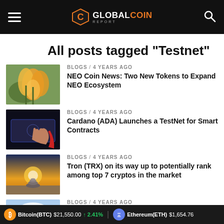Global Coin Report
All posts tagged "Testnet"
BLOGS / 4 years ago
NEO Coin News: Two New Tokens to Expand NEO Ecosystem
BLOGS / 4 years ago
Cardano (ADA) Launches a TestNet for Smart Contracts
BLOGS / 4 years ago
Tron (TRX) on its way up to potentially rank among top 7 cryptos in the market
BLOGS / 4 years ago
Will Cardano (ADA) live up to the hype around it?
BLOGS / 4 years ago
Here is Why it is Time to Buy the Chiqui (ZIZ) and IOST Dip...
Bitcoin(BTC) $21,550.00 ↑ 2.41%   Ethereum(ETH) $1,654.76